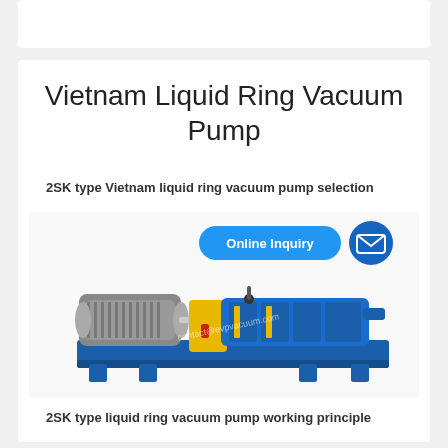Vietnam Liquid Ring Vacuum Pump
2SK type Vietnam liquid ring vacuum pump selection
[Figure (photo): 2SK type liquid ring vacuum pump with blue motor mount base, grey electric motor on left, yellow coupling guard in center, blue multi-stage pump body on right. Blue rounded rectangle button labeled 'Online Inquiry' and blue circle with envelope icon overlaid on top. Watermark text 'contact@evpvacuum.com' on image.]
2SK type liquid ring vacuum pump working principle